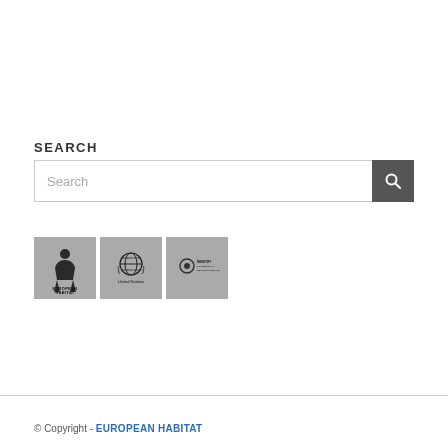SEARCH
[Figure (screenshot): Search input box with a dark grey search button containing a magnifying glass icon, placeholder text 'Search']
[Figure (logo): Three logos side by side: European Habitat (grey box with bird/person figure), United Nations (grey box with UN emblem and text), and Ministry of Regional Development CZ (grey box with logo and text)]
© Copyright - EUROPEAN HABITAT